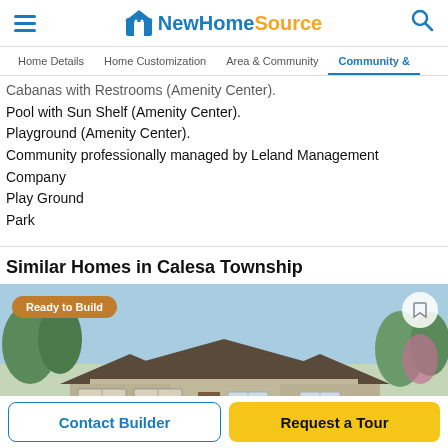NewHomeSource
Home Details | Home Customization | Area & Community | Community &
Cabanas with Restrooms (Amenity Center).
Pool with Sun Shelf (Amenity Center).
Playground (Amenity Center).
Community professionally managed by Leland Management Company
Play Ground
Park
Similar Homes in Calesa Township
[Figure (photo): Exterior photo of a single-story home with gray siding, dark roof, and green trees in background. Badge reads 'Ready to Build'.]